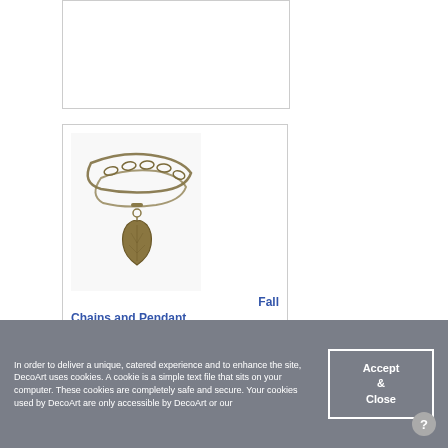[Figure (photo): Partial product card cut off at top of page, showing white rectangle with border]
[Figure (photo): Jewelry photo showing fall chains and pendant — gold/bronze colored chains layered with a leaf-shaped pendant]
Fall Chains and Pendant
In order to deliver a unique, catered experience and to enhance the site, DecoArt uses cookies. A cookie is a simple text file that sits on your computer. These cookies are completely safe and secure. Your cookies used by DecoArt are only accessible by DecoArt or our
Accept & Close